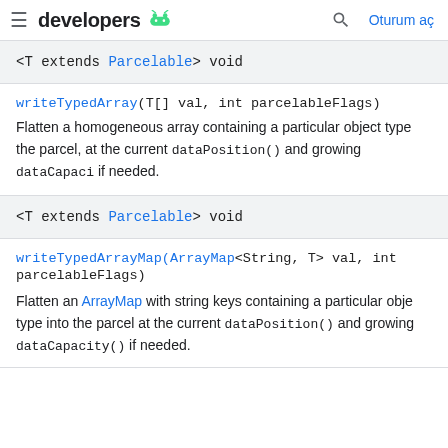≡ developers 🤖  🔍  Oturum aç
<T extends Parcelable> void
writeTypedArray(T[] val, int parcelableFlags)
Flatten a homogeneous array containing a particular object type the parcel, at the current dataPosition() and growing dataCapaci if needed.
<T extends Parcelable> void
writeTypedArrayMap(ArrayMap<String, T> val, int parcelableFlags)
Flatten an ArrayMap with string keys containing a particular obje type into the parcel at the current dataPosition() and growing dataCapacity() if needed.